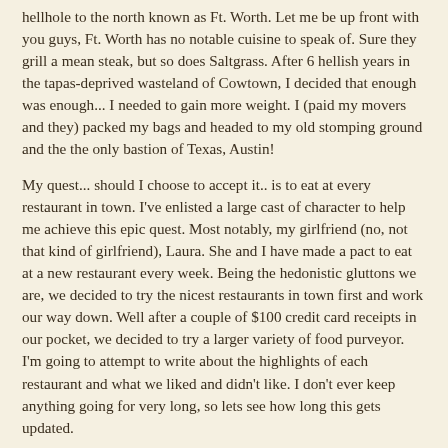hellhole to the north known as Ft. Worth. Let me be up front with you guys, Ft. Worth has no notable cuisine to speak of. Sure they grill a mean steak, but so does Saltgrass. After 6 hellish years in the tapas-deprived wasteland of Cowtown, I decided that enough was enough... I needed to gain more weight. I (paid my movers and they) packed my bags and headed to my old stomping ground and the the only bastion of Texas, Austin!
My quest... should I choose to accept it.. is to eat at every restaurant in town. I've enlisted a large cast of character to help me achieve this epic quest. Most notably, my girlfriend (no, not that kind of girlfriend), Laura. She and I have made a pact to eat at a new restaurant every week. Being the hedonistic gluttons we are, we decided to try the nicest restaurants in town first and work our way down. Well after a couple of $100 credit card receipts in our pocket, we decided to try a larger variety of food purveyor. I'm going to attempt to write about the highlights of each restaurant and what we liked and didn't like. I don't ever keep anything going for very long, so lets see how long this gets updated.